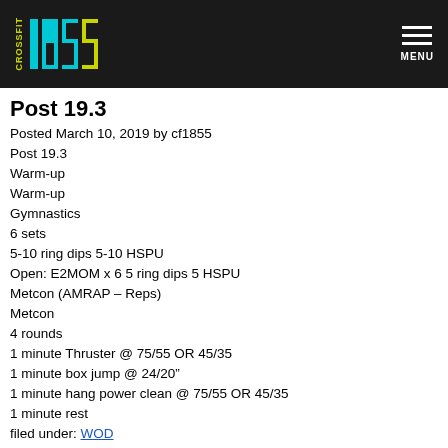[Figure (logo): CrossFit 1855 logo on dark header bar with hamburger menu and MENU label on right]
Post 19.3
Posted March 10, 2019 by cf1855
Post 19.3
Warm-up
Warm-up
Gymnastics
6 sets
5-10 ring dips 5-10 HSPU
Open: E2MOM x 6 5 ring dips 5 HSPU
Metcon (AMRAP – Reps)
Metcon
4 rounds
1 minute Thruster @ 75/55 OR 45/35
1 minute box jump @ 24/20"
1 minute hang power clean @ 75/55 OR 45/35
1 minute rest
filed under: WOD
Recent WODs
December 17th, 2020